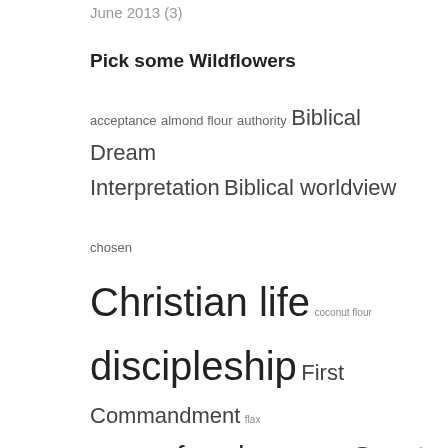June 2013 (3)
Pick some Wildflowers
acceptance almond flour authority Biblical Dream Interpretation Biblical worldview chosen Christian life coconut flour discipleship First Commandment flax forgiveness freedom God says Great Commandment Greatest Commandment judged judgment keto keto cookies Kingdom Living Kingdom Ways know God low-carb night visions offended offense persective